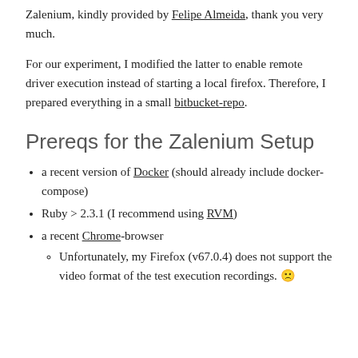Zalenium, kindly provided by Felipe Almeida, thank you very much.
For our experiment, I modified the latter to enable remote driver execution instead of starting a local firefox. Therefore, I prepared everything in a small bitbucket-repo.
Prereqs for the Zalenium Setup
a recent version of Docker (should already include docker-compose)
Ruby > 2.3.1 (I recommend using RVM)
a recent Chrome-browser
Unfortunately, my Firefox (v67.0.4) does not support the video format of the test execution recordings. 🙁